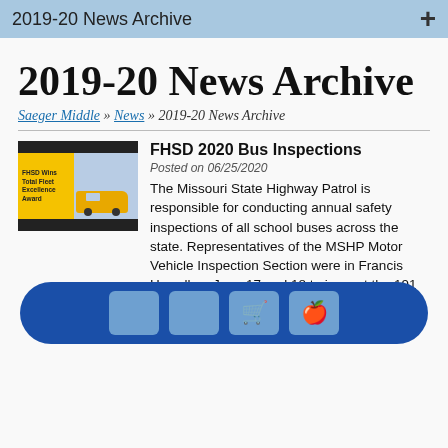2019-20 News Archive
2019-20 News Archive
Saeger Middle » News » 2019-20 News Archive
[Figure (photo): Thumbnail image: FHSD Wins Total Fleet Excellence Award — yellow school bus on blue background with black stripes]
FHSD 2020 Bus Inspections
Posted on 06/25/2020
The Missouri State Highway Patrol is responsible for conducting annual safety inspections of all school buses across the state. Representatives of the MSHP Motor Vehicle Inspection Section were in Francis Howell on June 17 and 18 to inspect the 191 buses in the FHSD transportation fleet. After a thorough inspection, bumper to bumper, the buses were required standards for an initial passage rate of 99%. Two buses had minor issues that were repaired quickly, and every FHSD bus